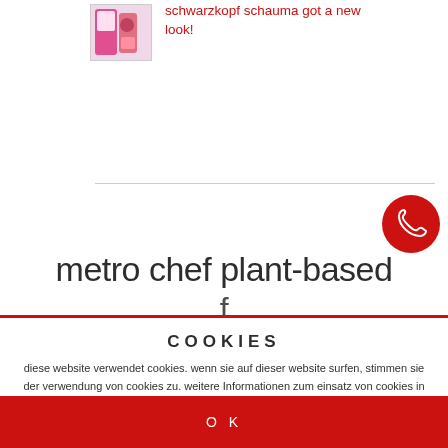[Figure (photo): Product thumbnail image of Schwarzkopf Schauma hair care products]
schwarzkopf schauma got a new look!
[Figure (other): Red circle phone/call button icon]
metro chef plant-based f...
COOKIES
diese website verwendet cookies. wenn sie auf dieser website surfen, stimmen sie der verwendung von cookies zu. weitere Informationen zum einsatz von cookies in unserer website erhalten sie im impressum
OK